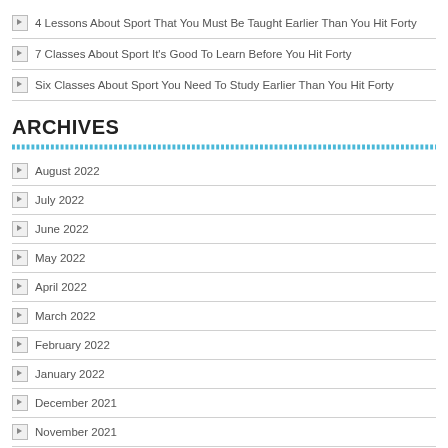4 Lessons About Sport That You Must Be Taught Earlier Than You Hit Forty
7 Classes About Sport It's Good To Learn Before You Hit Forty
Six Classes About Sport You Need To Study Earlier Than You Hit Forty
ARCHIVES
August 2022
July 2022
June 2022
May 2022
April 2022
March 2022
February 2022
January 2022
December 2021
November 2021